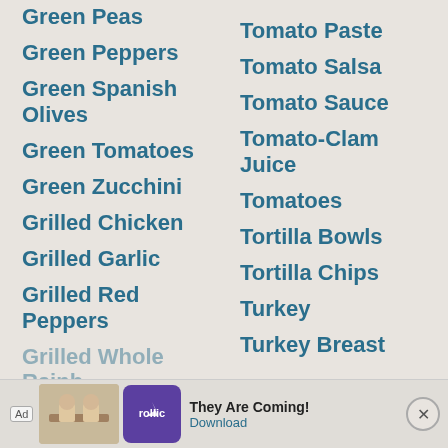Green Peas
Green Peppers
Green Spanish Olives
Green Tomatoes
Green Zucchini
Grilled Chicken
Grilled Garlic
Grilled Red Peppers
Grilled Whole Rainb…
Tomato Paste
Tomato Salsa
Tomato Sauce
Tomato-Clam Juice
Tomatoes
Tortilla Bowls
Tortilla Chips
Turkey
Turkey Breast
[Figure (screenshot): Advertisement banner with 'Ad' badge, Rollic game app logo, text 'They Are Coming!', and a Download button.]